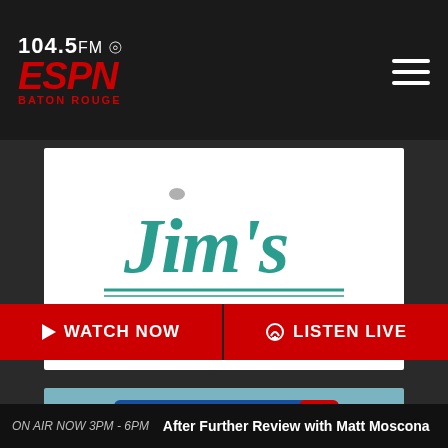104.5 FM ESPN Baton Rouge
[Figure (logo): Jim's Firearms logo with teal cursive 'Jim's' text and bold black 'FIREARMS' text with horizontal lines]
[Figure (logo): WBRZ 2 ABC News logo on teal background with smartphone icon and 'News Is Everywhere!' text]
WATCH NOW
LISTEN LIVE
ON AIR NOW 3PM - 6PM  After Further Review with Matt Moscona